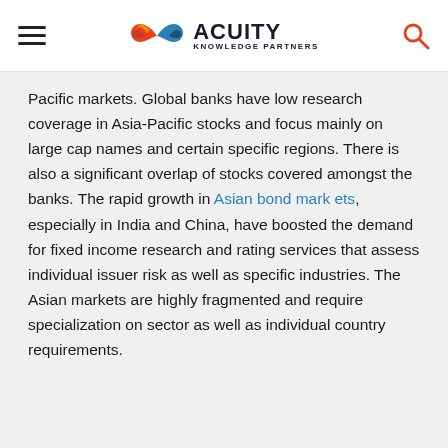Acuity Knowledge Partners
Pacific markets. Global banks have low research coverage in Asia-Pacific stocks and focus mainly on large cap names and certain specific regions. There is also a significant overlap of stocks covered amongst the banks. The rapid growth in Asian bond markets, especially in India and China, have boosted the demand for fixed income research and rating services that assess individual issuer risk as well as specific industries. The Asian markets are highly fragmented and require specialization on sector as well as individual country requirements.